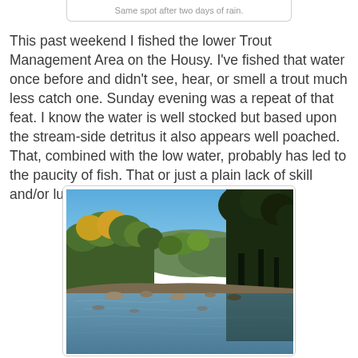Same spot after two days of rain.
This past weekend I fished the lower Trout Management Area on the Housy. I've fished that water once before and didn't see, hear, or smell a trout much less catch one. Sunday evening was a repeat of that feat. I know the water is well stocked but based upon the stream-side detritus it also appears well poached. That, combined with the low water, probably has led to the paucity of fish. That or just a plain lack of skill and/or luck.
[Figure (photo): River scene with autumn trees lining both banks, clear blue sky, rocks visible in the foreground of the calm river, hills in the background.]